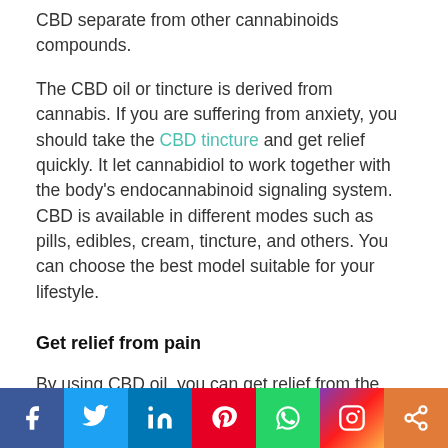CBD separate from other cannabinoids compounds.
The CBD oil or tincture is derived from cannabis. If you are suffering from anxiety, you should take the CBD tincture and get relief quickly. It let cannabidiol to work together with the body’s endocannabinoid signaling system. CBD is available in different modes such as pills, edibles, cream, tincture, and others. You can choose the best model suitable for your lifestyle.
Get relief from pain
By using CBD oil, you can get relief from the pain as soon as possible. The effect of this product aids the individual in managing the pain smoothly. Cannabis provides substantial health benefits while taking
[Figure (infographic): Social media share bar with icons for Facebook, Twitter, LinkedIn, Pinterest, WhatsApp, Instagram, and a share button]